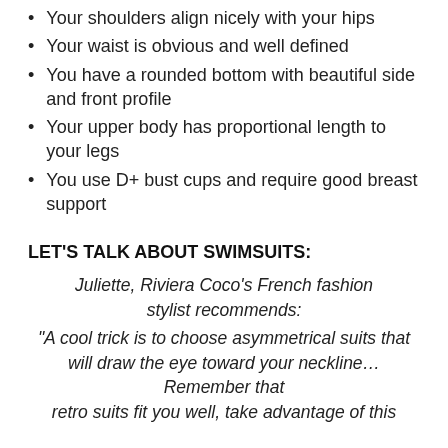Your shoulders align nicely with your hips
Your waist is obvious and well defined
You have a rounded bottom with beautiful side and front profile
Your upper body has proportional length to your legs
You use D+ bust cups and require good breast support
LET'S TALK ABOUT SWIMSUITS:
Juliette, Riviera Coco's French fashion stylist recommends:
“A cool trick is to choose asymmetrical suits that will draw the eye toward your neckline… Remember that retro suits fit you well, take advantage of this